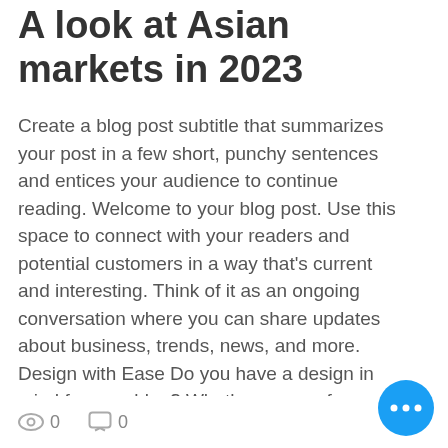A look at Asian markets in 2023
Create a blog post subtitle that summarizes your post in a few short, punchy sentences and entices your audience to continue reading. Welcome to your blog post. Use this space to connect with your readers and potential customers in a way that's current and interesting. Think of it as an ongoing conversation where you can share updates about business, trends, news, and more. Design with Ease Do you have a design in mind for your blog? Whether you prefer a trendy postcard look
0 views  0 comments